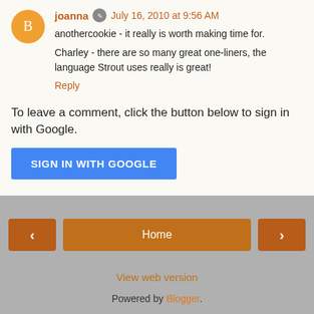joanna  July 16, 2010 at 9:56 AM
anothercookie - it really is worth making time for.
Charley - there are so many great one-liners, the language Strout uses really is great!
Reply
To leave a comment, click the button below to sign in with Google.
[Figure (other): Blue button labeled SIGN IN WITH GOOGLE]
[Figure (other): Navigation: left arrow button, Home button, right arrow button]
View web version
Powered by Blogger.